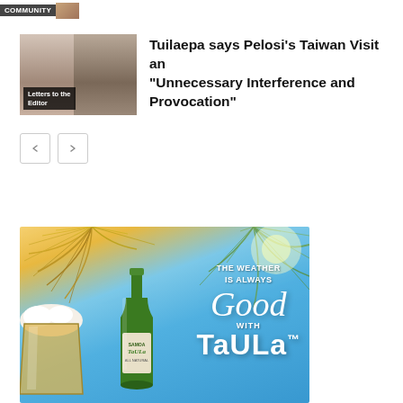[Figure (screenshot): Community badge with label and thumbnail image at top of page]
[Figure (photo): Thumbnail photo showing two people side by side with 'Letters to the Editor' overlay text]
Tuilaepa says Pelosi's Taiwan Visit an “Unnecessary Interference and Provocation”
[Figure (illustration): Navigation arrows (left and right) for article carousel]
[Figure (photo): Advertisement for Taula beer showing tropical beach scene with palm leaves, beer glass, green beer bottle, and text 'THE WEATHER IS ALWAYS Good WITH Taula']